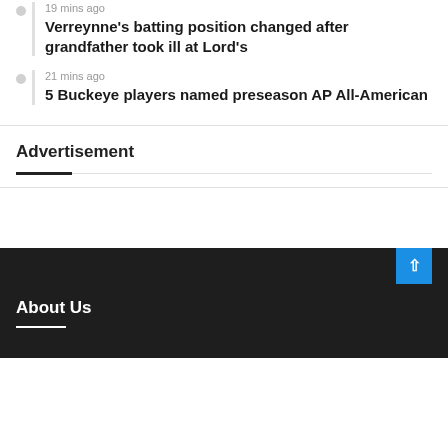medical advisor
19 mins ago
Verreynne's batting position changed after grandfather took ill at Lord's
21 mins ago
5 Buckeye players named preseason AP All-American
Advertisement
About Us